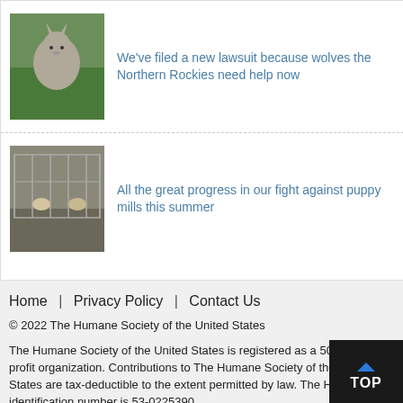[Figure (photo): Photo of wolves in a grassy field]
We've filed a new lawsuit because wolves the Northern Rockies need help now
[Figure (photo): Photo of dogs in cages at a puppy mill facility]
All the great progress in our fight against puppy mills this summer
Home | Privacy Policy | Contact Us
© 2022 The Humane Society of the United States
The Humane Society of the United States is registered as a 501(c)(3) non-profit organization. Contributions to The Humane Society of the United States are tax-deductible to the extent permitted by law. The HSUS' tax identification number is 53-0225390.